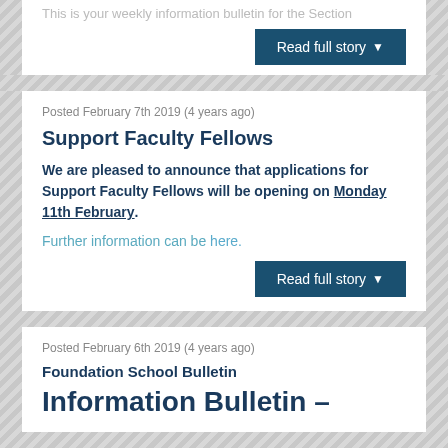This is your weekly information bulletin for the Section
Read full story
Posted February 7th 2019 (4 years ago)
Support Faculty Fellows
We are pleased to announce that applications for Support Faculty Fellows will be opening on Monday 11th February.
Further information can be here.
Read full story
Posted February 6th 2019 (4 years ago)
Foundation School Bulletin
Information Bulletin –